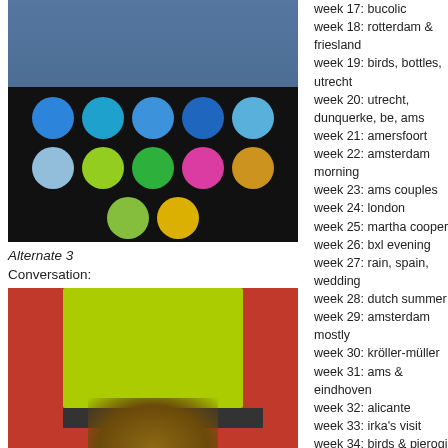[Figure (photo): Photo of person with arms crossed wearing blue shirt, holding a device with colorful dots/circles on dark background]
Alternate 3
Conversation:
[Figure (photo): Photo with red background and green/yellow screen or tablet, person with brown hair visible at bottom]
week 17: bucolic
week 18: rotterdam & friesland
week 19: birds, bottles, utrecht
week 20: utrecht, dunquerke, be, ams
week 21: amersfoort
week 22: amsterdam morning
week 23: ams couples
week 24: london
week 25: martha cooper
week 26: bxl evening
week 27: rain, spain, wedding
week 28: dutch summer
week 29: amsterdam mostly
week 30: kröller-müller
week 31: ams & eindhoven
week 32: alicante
week 33: irka's visit
week 34: birds & pierogi
week 35: work & alicante
week 36: at home
week 37: going to bath
week 38: almere & ams
week 39: last week in nl
week 40: 1st week in alicante